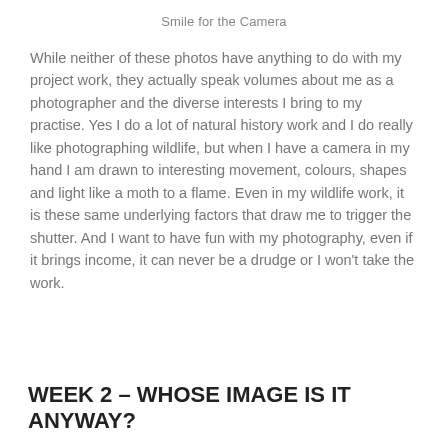Smile for the Camera
While neither of these photos have anything to do with my project work, they actually speak volumes about me as a photographer and the diverse interests I bring to my practise.  Yes I do a lot of natural history work and I do really like photographing wildlife, but when I have a camera in my hand I am drawn to interesting movement, colours, shapes and light like a moth to a flame.  Even in my wildlife work, it is these same underlying factors that draw me to trigger the shutter.  And I want to have fun with my photography, even if it brings income, it can never be a drudge or I won't take the work.
WEEK 2 – WHOSE IMAGE IS IT ANYWAY?